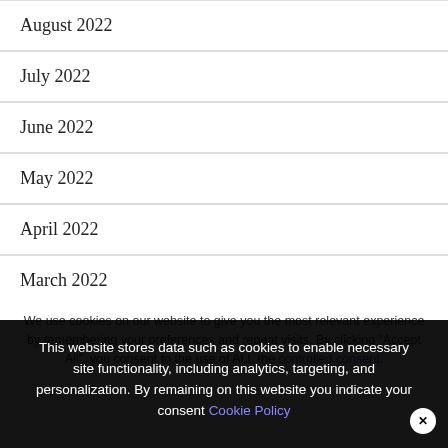August 2022
July 2022
June 2022
May 2022
April 2022
March 2022
We use cookies on our website to give you the most relevant experience by remembering your preferences and repeat visits. By clicking “Accept All”, you consent to the use of ALL the controlled consent.
This website stores data such as cookies to enable necessary site functionality, including analytics, targeting, and personalization. By remaining on this website you indicate your consent Cookie Policy